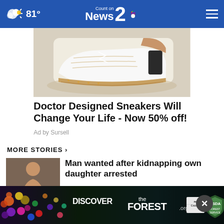81° Count on News 2 [NBC]
[Figure (photo): Close-up photo of white sneakers with gold/beige woven sole detail on a person's feet]
Doctor Designed Sneakers Will Change Your Life - Now 50% off!
Ad by Sursell
MORE STORIES ›
[Figure (photo): Thumbnail of a shirtless man, news story image]
Man wanted after kidnapping own daughter arrested
[Figure (photo): Thumbnail showing a vehicle, news story image]
CPD searching for missing man in West Ashley
[Figure (photo): Thumbnail of a news story at bottom]
replacement seminar
[Figure (advertisement): DISCOVERtheFOREST.org banner advertisement with Ad Council and USDA Forest Service logos, colorful flowers on dark forest background]